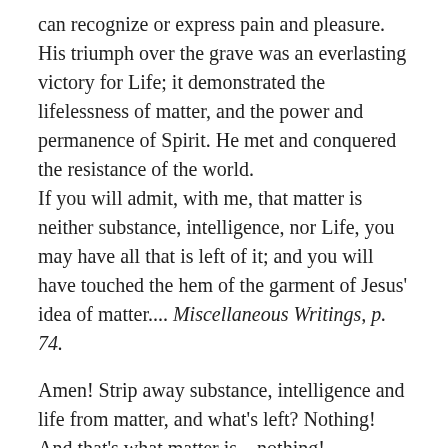can recognize or express pain and pleasure. His triumph over the grave was an everlasting victory for Life; it demonstrated the lifelessness of matter, and the power and permanence of Spirit. He met and conquered the resistance of the world. If you will admit, with me, that matter is neither substance, intelligence, nor Life, you may have all that is left of it; and you will have touched the hem of the garment of Jesus' idea of matter.... Miscellaneous Writings, p. 74.
Amen! Strip away substance, intelligence and life from matter, and what's left? Nothing! And that's what matter is—nothing!
To understand life we have to understand Spirit. Spirit is what moves us, inspires us, strengthens us, and empowers us aright. Spirit is the power at work in life, and from a spiritual point of view, it's hard to envision